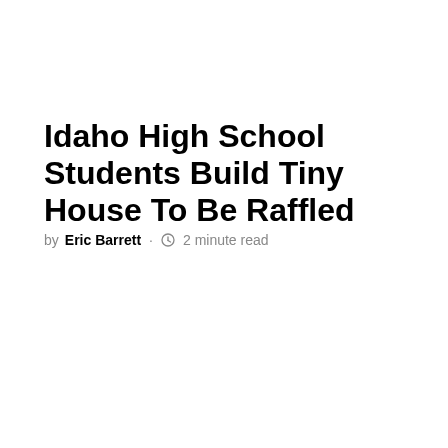Idaho High School Students Build Tiny House To Be Raffled
by Eric Barrett · 2 minute read